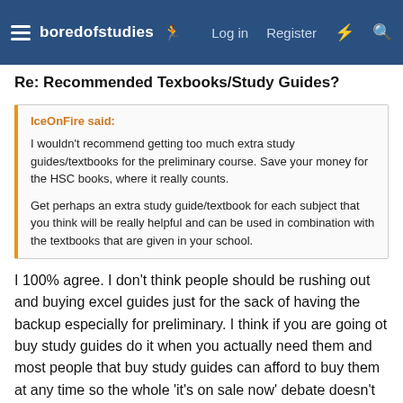boredofstudies — Log in  Register
Re: Recommended Texbooks/Study Guides?
IceOnFire said:

I wouldn't recommend getting too much extra study guides/textbooks for the preliminary course. Save your money for the HSC books, where it really counts.

Get perhaps an extra study guide/textbook for each subject that you think will be really helpful and can be used in combination with the textbooks that are given in your school.
I 100% agree. I don't think people should be rushing out and buying excel guides just for the sack of having the backup especially for preliminary. I think if you are going ot buy study guides do it when you actually need them and most people that buy study guides can afford to buy them at any time so the whole 'it's on sale now' debate doesn't stand.
However not the only...the preliminary problem with ot...